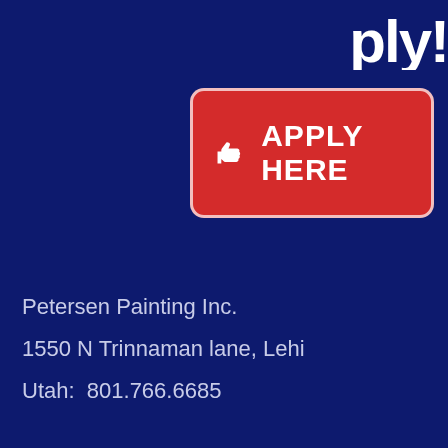[Figure (screenshot): Partial view of large white bold text at top right, likely part of a heading like 'Apply']
[Figure (infographic): Red rounded rectangle button with thumbs-up icon and bold white text 'APPLY HERE' on dark navy background]
Petersen Painting Inc.
1550 N Trinnaman lane, Lehi
Utah:  801.766.6685